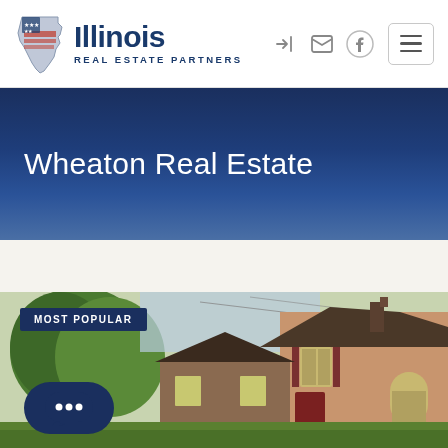[Figure (logo): Illinois Real Estate Partners logo with Illinois state shape icon and text]
Wheaton Real Estate
MOST POPULAR
[Figure (photo): Photograph of a brick house with trees in the background, showing residential real estate property in Wheaton]
[Figure (screenshot): Chat bubble button at bottom left of screen]